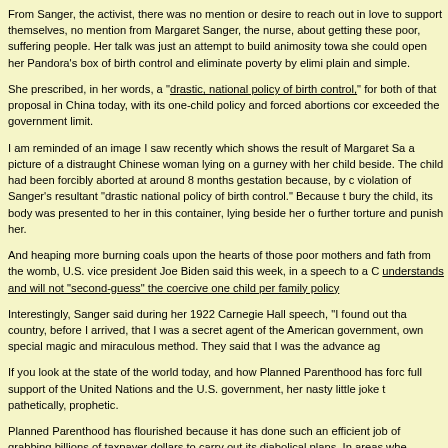From Sanger, the activist, there was no mention or desire to reach out in love to support themselves, no mention from Margaret Sanger, the nurse, about getting these poor, suffering people. Her talk was just an attempt to build animosity towa she could open her Pandora's box of birth control and eliminate poverty by elimi plain and simple.
She prescribed, in her words, a "drastic, national policy of birth control," for both of that proposal in China today, with its one-child policy and forced abortions cor exceeded the government limit.
I am reminded of an image I saw recently which shows the result of Margaret Sa a picture of a distraught Chinese woman lying on a gurney with her child beside. The child had been forcibly aborted at around 8 months gestation because, by c violation of Sanger's resultant "drastic national policy of birth control." Because t bury the child, its body was presented to her in this container, lying beside her o further torture and punish her.
And heaping more burning coals upon the hearts of those poor mothers and fath from the womb, U.S. vice president Joe Biden said this week, in a speech to a C understands and will not "second-guess" the coercive one child per family policy
Interestingly, Sanger said during her 1922 Carnegie Hall speech, "I found out tha country, before I arrived, that I was a secret agent of the American government, own special magic and miraculous method. They said that I was the advance ag
If you look at the state of the world today, and how Planned Parenthood has forc full support of the United Nations and the U.S. government, her nasty little joke t pathetically, prophetic.
Planned Parenthood has flourished because it has done such an efficient job of grabbing billions of taxpayer dollars to carry out its diabolical plans. In areas whe exposed and defunded, it has folded. God is so much stronger than evil-includin today for detailed information on how to stop the advance of Planned Parentho